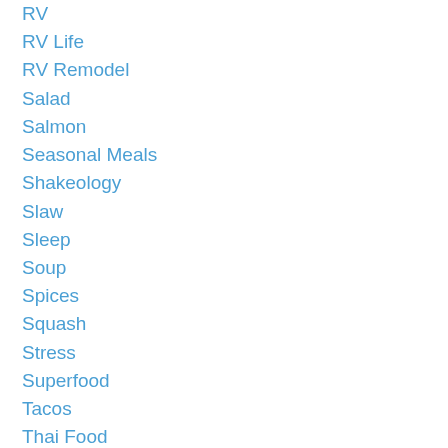RV
RV Life
RV Remodel
Salad
Salmon
Seasonal Meals
Shakeology
Slaw
Sleep
Soup
Spices
Squash
Stress
Superfood
Tacos
Thai Food
Thanksgiving
Travel
Trust
Turkey Sausage
Uptown